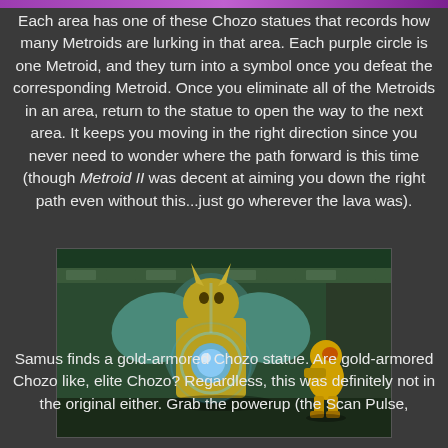[Figure (screenshot): Partially visible colorful image strip at the top of the page]
Each area has one of these Chozo statues that records how many Metroids are lurking in that area. Each purple circle is one Metroid, and they turn into a symbol once you defeat the corresponding Metroid. Once you eliminate all of the Metroids in an area, return to the statue to open the way to the next area. It keeps you moving in the right direction since you never need to wonder where the path forward is this time (though Metroid II was decent at aiming you down the right path even without this...just go wherever the lava was).
[Figure (screenshot): Screenshot from Metroid: Samus Returns showing Samus facing a large gold-armored Chozo statue in an ancient green-tiled chamber. The statue is glowing with a blue energy sphere.]
Samus finds a gold-armored Chozo statue. Are gold-armored Chozo like, elite Chozo? Regardless, this was definitely not in the original either. Grab the powerup (the Scan Pulse,